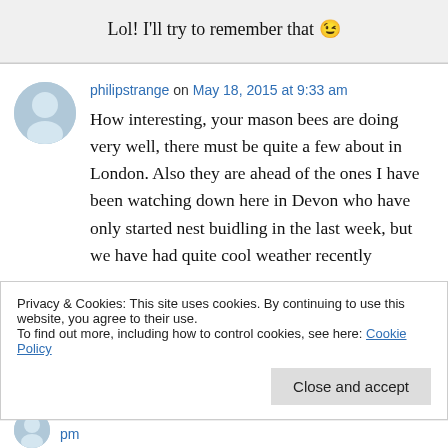Lol! I'll try to remember that 😉
philipstrange on May 18, 2015 at 9:33 am
How interesting, your mason bees are doing very well, there must be quite a few about in London. Also they are ahead of the ones I have been watching down here in Devon who have only started nest buidling in the last week, but we have had quite cool weather recently
Privacy & Cookies: This site uses cookies. By continuing to use this website, you agree to their use.
To find out more, including how to control cookies, see here: Cookie Policy
Close and accept
pm